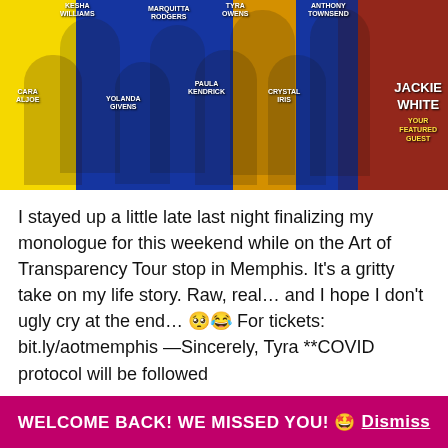[Figure (photo): Promotional banner for Art of Transparency Tour featuring multiple people with name labels: Kesha Williams, Marquitta Rodgers, Tyra Owens, Anthony Townsend, Cara Aljoe, Yolanda Givens, Paula Kendrick, Crystal Iris, and Jackie White (Your Featured Guest)]
I stayed up a little late last night finalizing my monologue for this weekend while on the Art of Transparency Tour stop in Memphis. It's a gritty take on my life story. Raw, real… and I hope I don't ugly cry at the end… 🥺😂 For tickets: bit.ly/aotmemphis —Sincerely, Tyra **COVID protocol will be followed
Continue reading →
[Figure (other): Social sharing buttons: Facebook, LinkedIn, Twitter, Pinterest, and more]
Advertisements
WELCOME BACK! WE MISSED YOU! 🤩 Dismiss